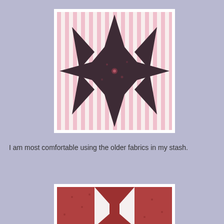[Figure (photo): A quilt block featuring an eight-pointed star pattern. The star is made from dark brown/maroon floral fabric, set against a pink and white striped fabric background. The center of the star is a larger square of the dark floral fabric with rose motifs.]
I am most comfortable using the older fabrics in my stash.
[Figure (photo): Partial view of another quilt block showing red/maroon patterned fabric with white triangular shapes forming a geometric pattern, partially cropped at bottom of page.]